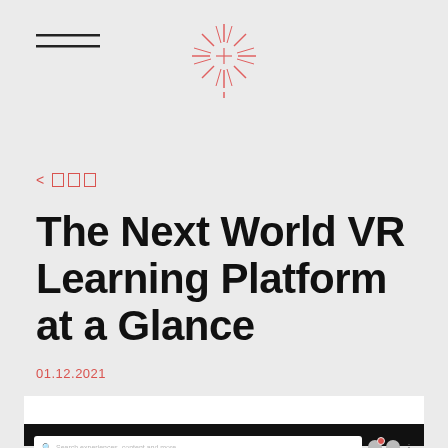[Figure (logo): Hamburger menu icon (two horizontal lines) at top left]
[Figure (logo): Red/pink starburst/asterisk logo icon at top center]
< □□□
The Next World VR Learning Platform at a Glance
01.12.2021
[Figure (screenshot): Screenshot of VR learning platform interface showing a search bar reading 'Search experiences, content and more' with notification and profile icons]